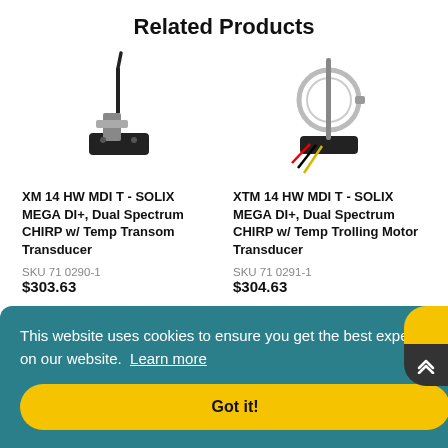Related Products
[Figure (photo): XM 14 HW MDI T transducer product photo - a transom mount transducer with black cable]
XM 14 HW MDI T - SOLIX MEGA DI+, Dual Spectrum CHIRP w/ Temp Transom Transducer
SKU 71 0290-1
$303.63 (partially obscured)
[Figure (photo): XTM 14 HW MDI T transducer product photo - a trolling motor mount transducer with red/black/yellow wires]
XTM 14 HW MDI T - SOLIX MEGA DI+, Dual Spectrum CHIRP w/ Temp Trolling Motor Transducer
SKU 71 0291-1
$304.63 (partially obscured)
This website uses cookies to ensure you get the best experience on our website. Learn more
Got it!